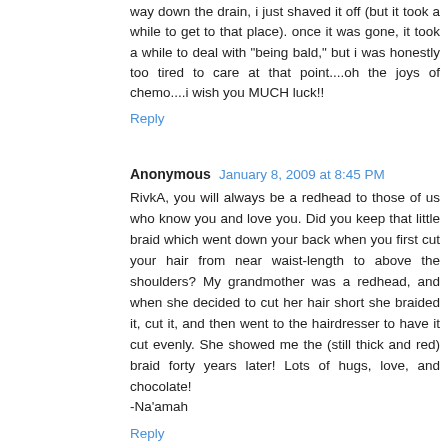way down the drain, i just shaved it off (but it took a while to get to that place). once it was gone, it took a while to deal with "being bald," but i was honestly too tired to care at that point....oh the joys of chemo....i wish you MUCH luck!!
Reply
Anonymous  January 8, 2009 at 8:45 PM
RivkA, you will always be a redhead to those of us who know you and love you. Did you keep that little braid which went down your back when you first cut your hair from near waist-length to above the shoulders? My grandmother was a redhead, and when she decided to cut her hair short she braided it, cut it, and then went to the hairdresser to have it cut evenly. She showed me the (still thick and red) braid forty years later! Lots of hugs, love, and chocolate!
-Na'amah
Reply
RivkA with a capital A  January 9, 2009 at 2:11 AM